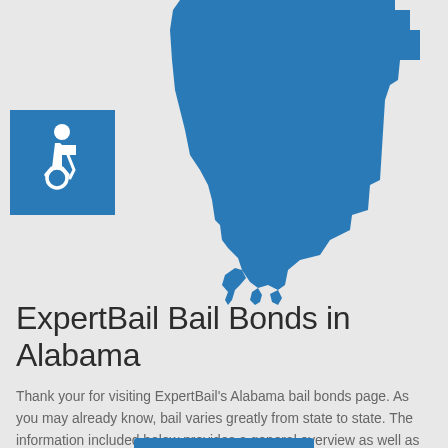[Figure (illustration): Blue silhouette of the state of Alabama with an accessibility (wheelchair) icon in a blue square in the upper left]
ExpertBail Bail Bonds in Alabama
Thank your for visiting ExpertBail's Alabama bail bonds page.  As you may already know, bail varies greatly from state to state. The information included below provides a general overview as well as some important specifics regarding bail in Alabama. This includes everything from State Statutes to rules of operation. Once you have reviewed this information, if you still have any questions whatsoever about how bail operates in Alabama or how to find an ExpertBail agent in Alabama, please do not hesitate to fill out the contact form above or call us directly at 800.938.BAIL (2245).